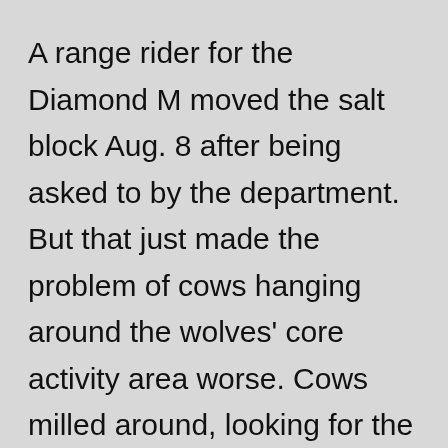A range rider for the Diamond M moved the salt block Aug. 8 after being asked to by the department. But that just made the problem of cows hanging around the wolves' core activity area worse. Cows milled around, looking for the salt that was supposed to be there and licking and pawing salt still in the ground.